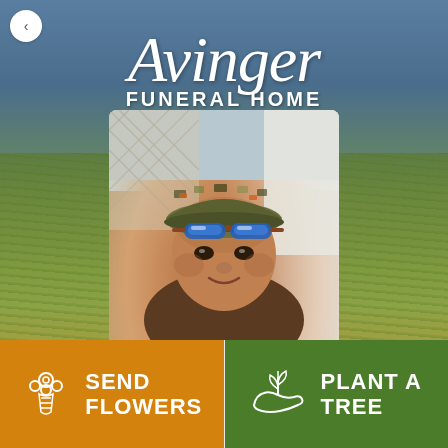[Figure (logo): Avinger Funeral Home logo in white script and uppercase text over landscape background with portrait photo of a man wearing a camo cap and blue sunglasses]
SEND FLOWERS
PLANT A TREE